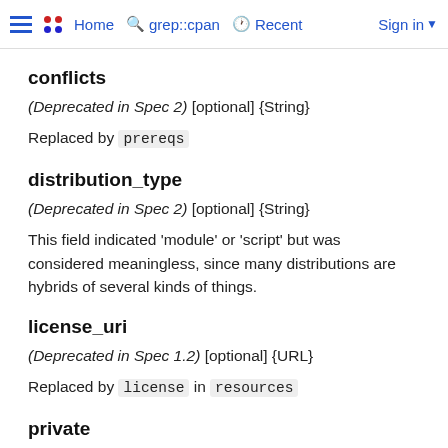Home  grep::cpan  Recent  Sign in
conflicts
(Deprecated in Spec 2) [optional] {String}
Replaced by prereqs
distribution_type
(Deprecated in Spec 2) [optional] {String}
This field indicated 'module' or 'script' but was considered meaningless, since many distributions are hybrids of several kinds of things.
license_uri
(Deprecated in Spec 1.2) [optional] {URL}
Replaced by license in resources
private